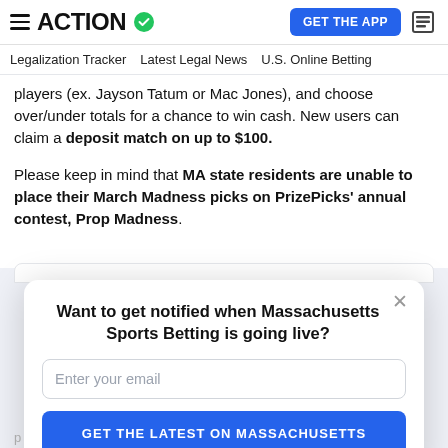ACTION [checkmark logo] | GET THE APP | [news icon]
Legalization Tracker   Latest Legal News   U.S. Online Betting
players (ex. Jayson Tatum or Mac Jones), and choose over/under totals for a chance to win cash. New users can claim a deposit match on up to $100.
Please keep in mind that MA state residents are unable to place their March Madness picks on PrizePicks' annual contest, Prop Madness.
[Figure (screenshot): Modal popup asking 'Want to get notified when Massachusetts Sports Betting is going live?' with an email input field and a blue 'GET THE LATEST ON MASSACHUSETTS' button.]